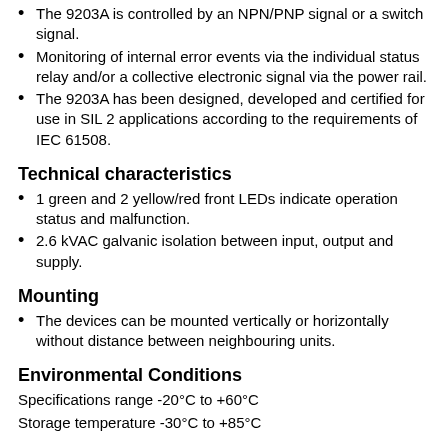The 9203A is controlled by an NPN/PNP signal or a switch signal.
Monitoring of internal error events via the individual status relay and/or a collective electronic signal via the power rail.
The 9203A has been designed, developed and certified for use in SIL 2 applications according to the requirements of IEC 61508.
Technical characteristics
1 green and 2 yellow/red front LEDs indicate operation status and malfunction.
2.6 kVAC galvanic isolation between input, output and supply.
Mounting
The devices can be mounted vertically or horizontally without distance between neighbouring units.
Environmental Conditions
Specifications range -20°C to +60°C
Storage temperature -30°C to +85°C